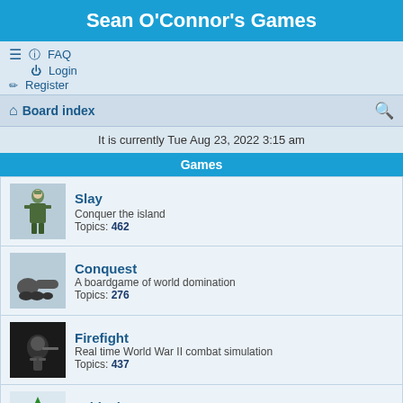Sean O'Connor's Games
FAQ
Login
Register
Board index
It is currently Tue Aug 23, 2022 3:15 am
Games
Slay
Conquer the island
Topics: 462
Conquest
A boardgame of world domination
Topics: 276
Firefight
Real time World War II combat simulation
Topics: 437
Critical Mass
Command a squadron of spaceships
Topics: 443
The General
A boardgame of intense bluffing
Topics: 59